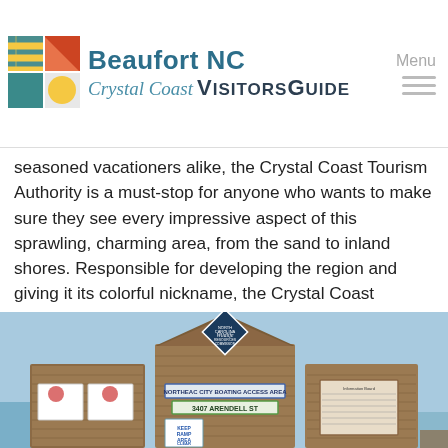Beaufort NC Crystal Coast VisitorsGuide
seasoned vacationers alike, the Crystal Coast Tourism Authority is a must-stop for anyone who wants to make sure they see every impressive aspect of this sprawling, charming area, from the sand to inland shores. Responsible for developing the region and giving it its colorful nickname, the Crystal Coast Tourism Authority is still at the forefront of this North Carolina region's rapidly developing tourism scene.
[Figure (photo): Outdoor wooden boat launch/access area kiosk with a North Carolina Wildlife Resources Commission diamond-shaped sign on the roof peak, and posted signs reading 'NORTHEAC CITY BOATING ACCESS AREA' and '3407 ARENDELL ST', along with 'KEEP RAMP AREA CLEAR' and other informational signs. Background shows blue sky and water.]